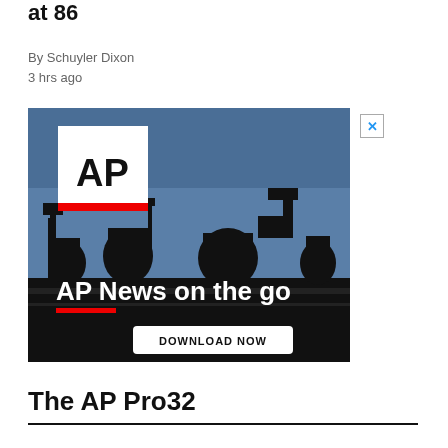at 86
By Schuyler Dixon
3 hrs ago
[Figure (photo): AP News on the go advertisement. Shows silhouettes of camera operators and journalists against a blue sky. AP logo in top-left corner. Text reads 'AP News on the go' with a red underline bar and 'DOWNLOAD NOW' button.]
The AP Pro32